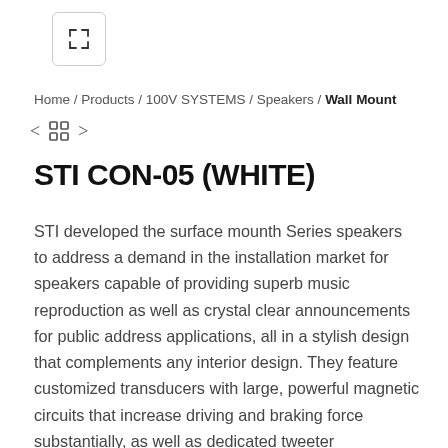[Figure (other): Expand/fullscreen icon button — arrows pointing outward in four diagonal directions, inside a rounded square button]
Home / Products / 100V SYSTEMS / Speakers / Wall Mount
[Figure (other): Navigation controls: left arrow, grid/thumbnail view icon, right arrow]
STI CON-05 (WHITE)
STI developed the surface mounth Series speakers to address a demand in the installation market for speakers capable of providing superb music reproduction as well as crystal clear announcements for public address applications, all in a stylish design that complements any interior design. They feature customized transducers with large, powerful magnetic circuits that increase driving and braking force substantially, as well as dedicated tweeter diaphragms and speaker cone paper made from a carefully-created blend of materials that help optimize sound reproduction. Enclosures are built tough to meet the demands of a wide variety of